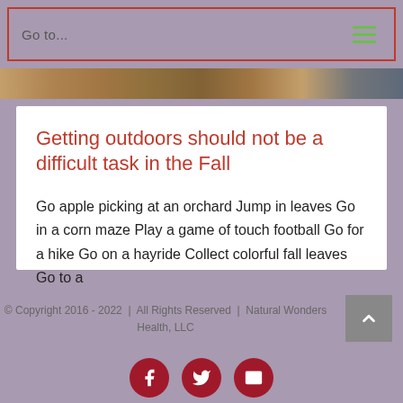Go to...
[Figure (photo): Partial autumn outdoor photo strip at top of page]
Getting outdoors should not be a difficult task in the Fall
Go apple picking at an orchard Jump in leaves Go in a corn maze Play a game of touch football Go for a hike Go on a hayride Collect colorful fall leaves Go to a
© Copyright 2016 - 2022  |  All Rights Reserved  |  Natural Wonders Health, LLC